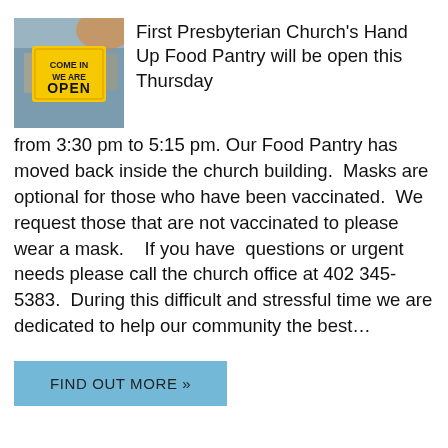[Figure (photo): A yellow sign reading 'COME IN WE ARE OPEN' displayed in a window or door, with a blurred background.]
First Presbyterian Church's Hand Up Food Pantry will be open this Thursday from 3:30 pm to 5:15 pm. Our Food Pantry has moved back inside the church building.  Masks are optional for those who have been vaccinated.  We request those that are not vaccinated to please wear a mask.    If you have  questions or urgent needs please call the church office at 402 345-5383.  During this difficult and stressful time we are dedicated to help our community the best…
FIND OUT MORE »